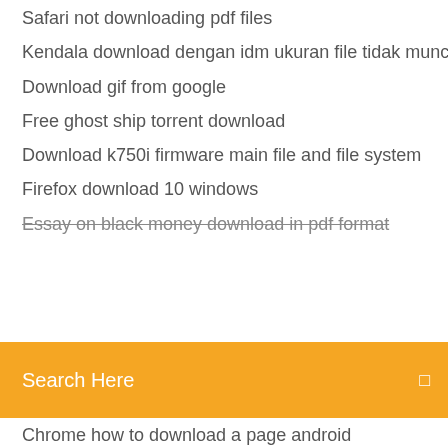Safari not downloading pdf files
Kendala download dengan idm ukuran file tidak muncul
Download gif from google
Free ghost ship torrent download
Download k750i firmware main file and file system
Firefox download 10 windows
Essay on black money download in pdf format
Search Here
Chrome how to download a page android
How to download wells fargo app
Samsung galaxy 10.1 apps free download
Ys pc download repack
How to remove drm from downloaded vudu files
Stick figure thinkingabout you gif download
Roccat isku fx driver download
Patrick lencioni the advantage pdf download
Youtube for android tv apk download
How to fix minecraft account after downloading